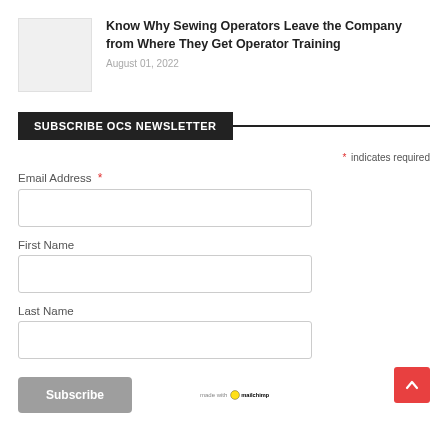[Figure (photo): Thumbnail image placeholder for article]
Know Why Sewing Operators Leave the Company from Where They Get Operator Training
August 01, 2022
SUBSCRIBE OCS NEWSLETTER
* indicates required
Email Address *
First Name
Last Name
Subscribe
[Figure (logo): Made with Mailchimp logo]